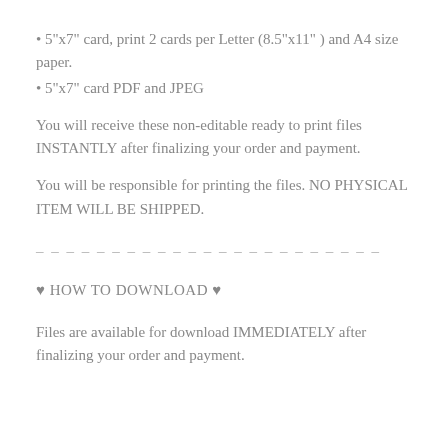• 5"x7" card, print 2 cards per Letter (8.5"x11" ) and A4 size paper.
• 5"x7" card PDF and JPEG
You will receive these non-editable ready to print files INSTANTLY after finalizing your order and payment.
You will be responsible for printing the files. NO PHYSICAL ITEM WILL BE SHIPPED.
– – – – – – – – – – – – – – – – – – – – – – –
♥ HOW TO DOWNLOAD ♥
Files are available for download IMMEDIATELY after finalizing your order and payment.